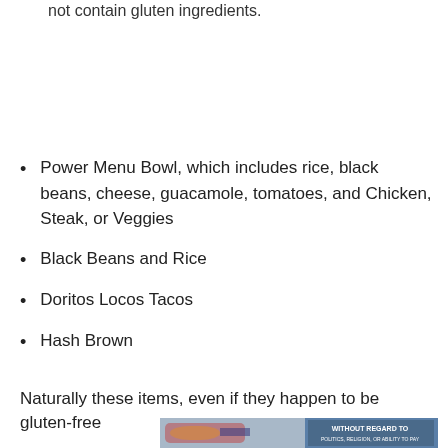not contain gluten ingredients.
Power Menu Bowl, which includes rice, black beans, cheese, guacamole, tomatoes, and Chicken, Steak, or Veggies
Black Beans and Rice
Doritos Locos Tacos
Hash Brown
Naturally these items, even if they happen to be gluten-free
[Figure (photo): Advertisement photo showing an airplane being loaded with cargo, with text overlay reading 'WITHOUT REGARD TO' and smaller text below]